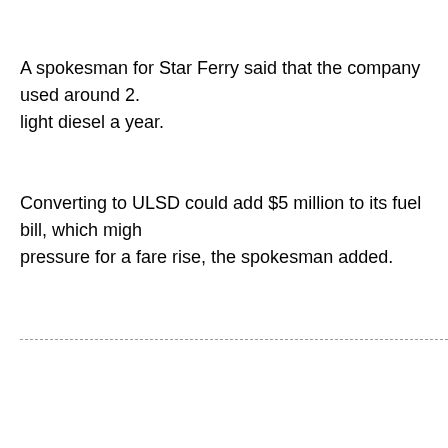A spokesman for Star Ferry said that the company used around 2. light diesel a year.
Converting to ULSD could add $5 million to its fuel bill, which migh pressure for a fare rise, the spokesman added.